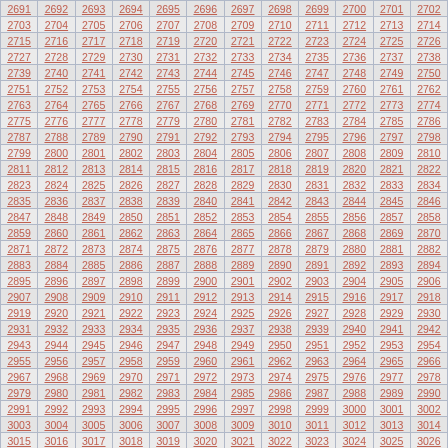| 2691 | 2692 | 2693 | 2694 | 2695 | 2696 | 2697 | 2698 | 2699 | 2700 | 2701 | 2702 |
| 2703 | 2704 | 2705 | 2706 | 2707 | 2708 | 2709 | 2710 | 2711 | 2712 | 2713 | 2714 |
| 2715 | 2716 | 2717 | 2718 | 2719 | 2720 | 2721 | 2722 | 2723 | 2724 | 2725 | 2726 |
| 2727 | 2728 | 2729 | 2730 | 2731 | 2732 | 2733 | 2734 | 2735 | 2736 | 2737 | 2738 |
| 2739 | 2740 | 2741 | 2742 | 2743 | 2744 | 2745 | 2746 | 2747 | 2748 | 2749 | 2750 |
| 2751 | 2752 | 2753 | 2754 | 2755 | 2756 | 2757 | 2758 | 2759 | 2760 | 2761 | 2762 |
| 2763 | 2764 | 2765 | 2766 | 2767 | 2768 | 2769 | 2770 | 2771 | 2772 | 2773 | 2774 |
| 2775 | 2776 | 2777 | 2778 | 2779 | 2780 | 2781 | 2782 | 2783 | 2784 | 2785 | 2786 |
| 2787 | 2788 | 2789 | 2790 | 2791 | 2792 | 2793 | 2794 | 2795 | 2796 | 2797 | 2798 |
| 2799 | 2800 | 2801 | 2802 | 2803 | 2804 | 2805 | 2806 | 2807 | 2808 | 2809 | 2810 |
| 2811 | 2812 | 2813 | 2814 | 2815 | 2816 | 2817 | 2818 | 2819 | 2820 | 2821 | 2822 |
| 2823 | 2824 | 2825 | 2826 | 2827 | 2828 | 2829 | 2830 | 2831 | 2832 | 2833 | 2834 |
| 2835 | 2836 | 2837 | 2838 | 2839 | 2840 | 2841 | 2842 | 2843 | 2844 | 2845 | 2846 |
| 2847 | 2848 | 2849 | 2850 | 2851 | 2852 | 2853 | 2854 | 2855 | 2856 | 2857 | 2858 |
| 2859 | 2860 | 2861 | 2862 | 2863 | 2864 | 2865 | 2866 | 2867 | 2868 | 2869 | 2870 |
| 2871 | 2872 | 2873 | 2874 | 2875 | 2876 | 2877 | 2878 | 2879 | 2880 | 2881 | 2882 |
| 2883 | 2884 | 2885 | 2886 | 2887 | 2888 | 2889 | 2890 | 2891 | 2892 | 2893 | 2894 |
| 2895 | 2896 | 2897 | 2898 | 2899 | 2900 | 2901 | 2902 | 2903 | 2904 | 2905 | 2906 |
| 2907 | 2908 | 2909 | 2910 | 2911 | 2912 | 2913 | 2914 | 2915 | 2916 | 2917 | 2918 |
| 2919 | 2920 | 2921 | 2922 | 2923 | 2924 | 2925 | 2926 | 2927 | 2928 | 2929 | 2930 |
| 2931 | 2932 | 2933 | 2934 | 2935 | 2936 | 2937 | 2938 | 2939 | 2940 | 2941 | 2942 |
| 2943 | 2944 | 2945 | 2946 | 2947 | 2948 | 2949 | 2950 | 2951 | 2952 | 2953 | 2954 |
| 2955 | 2956 | 2957 | 2958 | 2959 | 2960 | 2961 | 2962 | 2963 | 2964 | 2965 | 2966 |
| 2967 | 2968 | 2969 | 2970 | 2971 | 2972 | 2973 | 2974 | 2975 | 2976 | 2977 | 2978 |
| 2979 | 2980 | 2981 | 2982 | 2983 | 2984 | 2985 | 2986 | 2987 | 2988 | 2989 | 2990 |
| 2991 | 2992 | 2993 | 2994 | 2995 | 2996 | 2997 | 2998 | 2999 | 3000 | 3001 | 3002 |
| 3003 | 3004 | 3005 | 3006 | 3007 | 3008 | 3009 | 3010 | 3011 | 3012 | 3013 | 3014 |
| 3015 | 3016 | 3017 | 3018 | 3019 | 3020 | 3021 | 3022 | 3023 | 3024 | 3025 | 3026 |
| 3027 | 3028 | 3029 | 3030 | 3031 | 3032 | 3033 | 3034 | 3035 | 3036 | 3037 | 3038 |
| 3039 | 3040 | 3041 | 3042 | 3043 | 3044 | 3045 | 3046 | 3047 | 3048 | 3049 | 3050 |
| 3051 | 3052 | 3053 | 3054 | 3055 | 3056 | 3057 | 3058 | 3059 | 3060 | 3061 | 3062 |
| 3063 | 3064 | 3065 | 3066 | 3067 | 3068 | 3069 | 3070 | 3071 | 3072 | 3073 | 3074 |
| 3075 | 3076 | 3077 | 3078 | 3079 | 3080 | 3081 | 3082 | 3083 | 3084 | 3085 | ... |